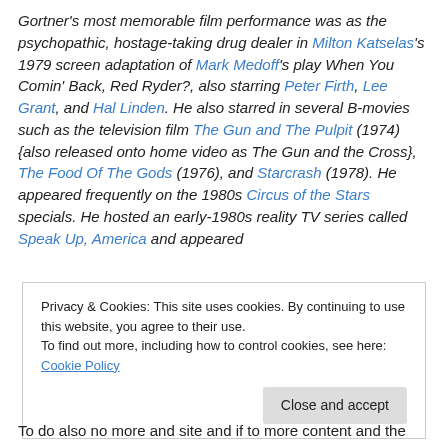Gortner's most memorable film performance was as the psychopathic, hostage-taking drug dealer in Milton Katselas's 1979 screen adaptation of Mark Medoff's play When You Comin' Back, Red Ryder?, also starring Peter Firth, Lee Grant, and Hal Linden. He also starred in several B-movies such as the television film The Gun and The Pulpit (1974) {also released onto home video as The Gun and the Cross}, The Food Of The Gods (1976), and Starcrash (1978). He appeared frequently on the 1980s Circus of the Stars specials. He hosted an early-1980s reality TV series called Speak Up, America and appeared
Privacy & Cookies: This site uses cookies. By continuing to use this website, you agree to their use.
To find out more, including how to control cookies, see here: Cookie Policy
To do also no more and site and if to more content and the